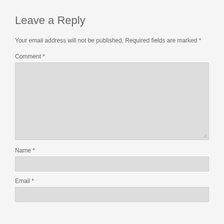Leave a Reply
Your email address will not be published. Required fields are marked *
Comment *
[Figure (other): A large textarea input box with a light gray background and resize handle in the bottom right corner]
Name *
[Figure (other): A single-line text input box with a light gray background]
Email *
[Figure (other): A single-line text input box with a light gray background]